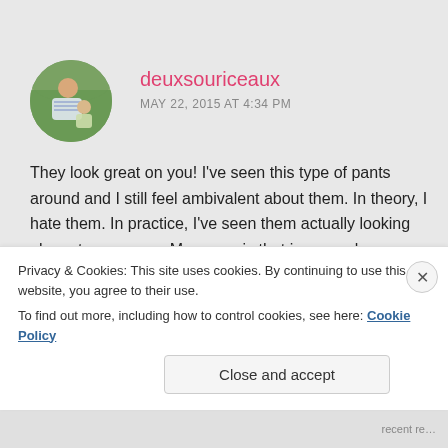deuxsouriceaux
MAY 22, 2015 AT 4:34 PM
They look great on you! I've seen this type of pants around and I still feel ambivalent about them. In theory, I hate them. In practice, I've seen them actually looking elegant, as on you. My guess is that in a couple years, everyone will have gotten used to this silhouette and will be wearing them. Hey, that must mean that you're avant-garde!
Privacy & Cookies: This site uses cookies. By continuing to use this website, you agree to their use.
To find out more, including how to control cookies, see here: Cookie Policy
Close and accept